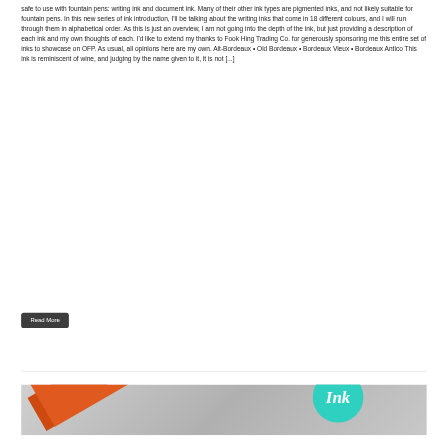safe to use with fountain pens: writing ink and document ink. Many of their other ink types are pigmented inks, and not likely suitable for fountain pens. In this new series of ink introduction, I'll be talking about the writing inks that come in 18 different colours, and I will run through them in alphabetical order. As this is just an overview, I am not going into the depth of the ink, but just providing a description of each ink and my own thoughts of each. I'd like to extend my thanks to Fook Hing Trading Co. for generously sponsoring me this entire set of inks to showcase on OFP. As usual, all opinions here are my own. Alt-Bordeaux • Old Bordeaux • Bordeaux Vieux • Bordeaux Antico This ink is reminiscent of wine, and judging by the name given to it, it is not [...]
Read More
[Figure (photo): Partial image of what appears to be fountain pen ink bottles or writing materials, with an orange/red diagonal element and a teal circular logo visible]